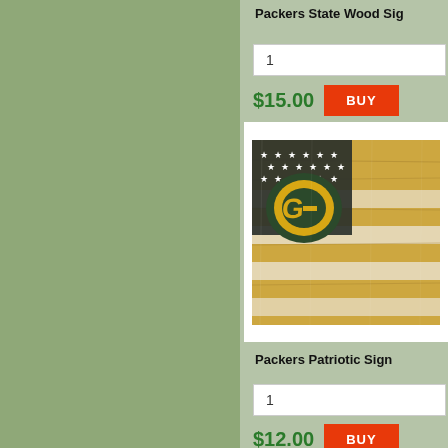Packers State Wood Sig...
1
$15.00
[Figure (photo): Green Bay Packers patriotic wood sign with American flag design in gold, white, and black with Packers G logo and stars]
Packers Patriotic Sign...
1
$12.00